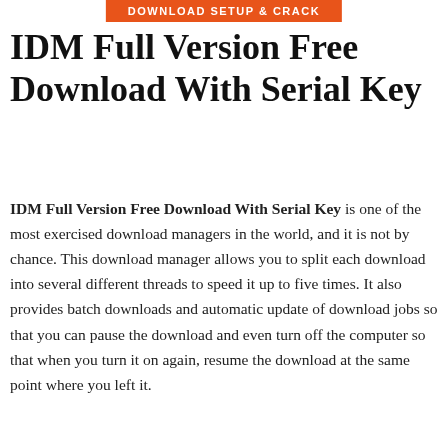DOWNLOAD SETUP & CRACK
IDM Full Version Free Download With Serial Key
IDM Full Version Free Download With Serial Key is one of the most exercised download managers in the world, and it is not by chance. This download manager allows you to split each download into several different threads to speed it up to five times. It also provides batch downloads and automatic update of download jobs so that you can pause the download and even turn off the computer so that when you turn it on again, resume the download at the same point where you left it.